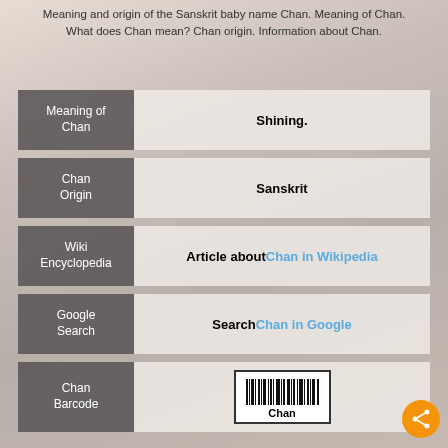Meaning and origin of the Sanskrit baby name Chan. Meaning of Chan. What does Chan mean? Chan origin. Information about Chan.
| Label | Value |
| --- | --- |
| Meaning of Chan | Shining. |
| Chan Origin | Sanskrit |
| Wiki Encyclopedia | Article about Chan in Wikipedia |
| Google Search | Search Chan in Google |
| Chan Barcode | [barcode image] Chan |
[Figure (other): Barcode for the name Chan with vertical bars and label 'Chan' underneath]